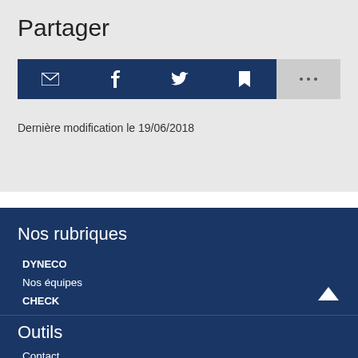Partager
[Figure (other): Social share buttons: email (envelope icon), Facebook (f icon), Twitter (bird icon), bookmark icon — all on dark blue background; plus a gray button with ellipsis (more options)]
Dernière modification le 19/06/2018
Nos rubriques
DYNECO
Nos équipes
CHECK
Actualités
Contact
Outils
Contact